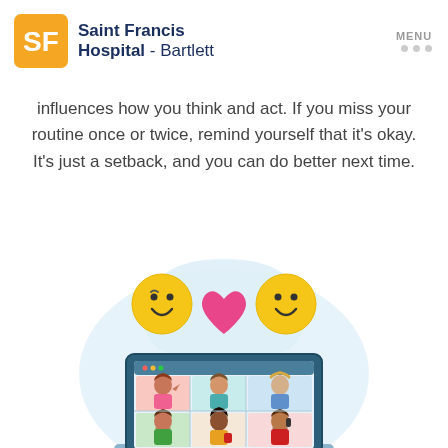Saint Francis Hospital - Bartlett
influences how you think and act. If you miss your routine once or twice, remind yourself that it's okay. It's just a setback, and you can do better next time.
[Figure (illustration): Cartoon illustration of a laptop showing a video call with six people in grid view, with two smiley face emojis and a pink heart floating above the screen, set against a light blue cloud-shaped background.]